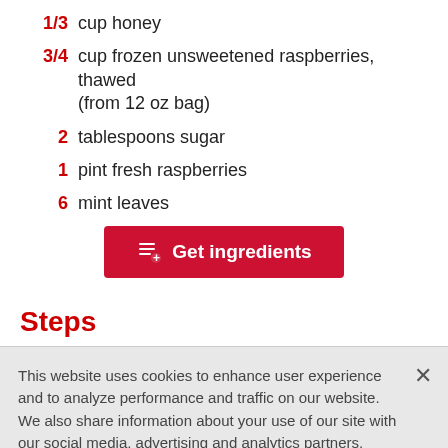1/3 cup honey
3/4 cup frozen unsweetened raspberries, thawed (from 12 oz bag)
2 tablespoons sugar
1 pint fresh raspberries
6 mint leaves
[Figure (other): Get ingredients button (red button with list icon)]
Steps
This website uses cookies to enhance user experience and to analyze performance and traffic on our website. We also share information about your use of our site with our social media, advertising and analytics partners. Link to Cookie Policy